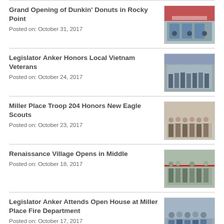Grand Opening of Dunkin' Donuts in Rocky Point
Posted on: October 31, 2017
[Figure (photo): Photo of Grand Opening of Dunkin Donuts in Rocky Point]
Legislator Anker Honors Local Vietnam Veterans
Posted on: October 24, 2017
[Figure (photo): Photo of Legislator Anker honoring Vietnam Veterans]
Miller Place Troop 204 Honors New Eagle Scouts
Posted on: October 23, 2017
[Figure (photo): Photo of Miller Place Troop 204 Eagle Scouts]
Renaissance Village Opens in Middle
Posted on: October 18, 2017
[Figure (photo): Photo of Renaissance Village ribbon cutting]
Legislator Anker Attends Open House at Miller Place Fire Department
Posted on: October 17, 2017
[Figure (photo): Photo at Miller Place Fire Department Open House]